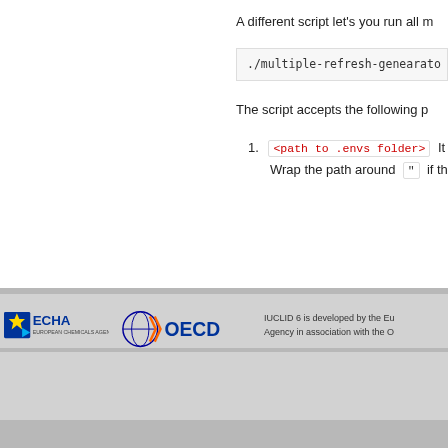A different script let's you run all m
./multiple-refresh-genearato
The script accepts the following p
1. <path to .envs folder> It ... Wrap the path around " if th
[Figure (logo): ECHA European Chemicals Agency and OECD logos with text: IUCLID 6 is developed by the Eu Agency in association with the O]
IUCLID 6 is developed by the Eu Agency in association with the O